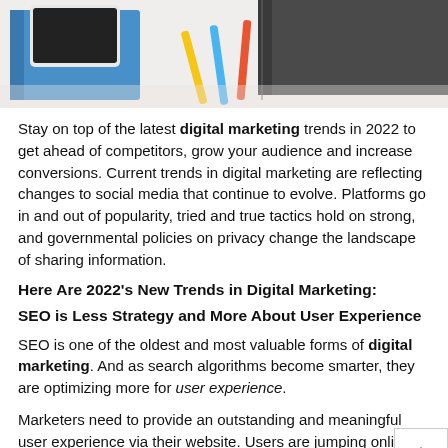[Figure (photo): Photo of notebooks, a smartphone, and colorful pens/markers on a white surface]
Stay on top of the latest digital marketing trends in 2022 to get ahead of competitors, grow your audience and increase conversions. Current trends in digital marketing are reflecting changes to social media that continue to evolve. Platforms go in and out of popularity, tried and true tactics hold on strong, and governmental policies on privacy change the landscape of sharing information.
Here Are 2022's New Trends in Digital Marketing:
SEO is Less Strategy and More About User Experience
SEO is one of the oldest and most valuable forms of digital marketing. And as search algorithms become smarter, they are optimizing more for user experience.
Marketers need to provide an outstanding and meaningful user experience via their website. Users are jumping online for quick answers and websites need to accommodate them with lightning-fast load time, mobile-friendly design, easy navigation, and